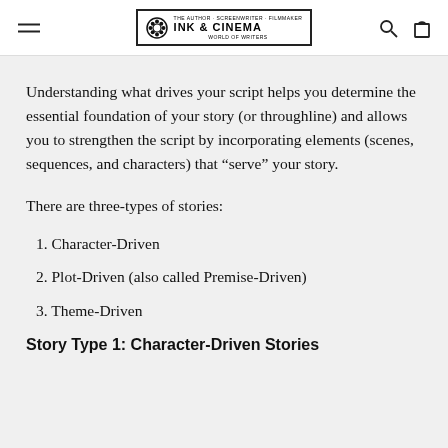INK & CINEMA
Understanding what drives your script helps you determine the essential foundation of your story (or throughline) and allows you to strengthen the script by incorporating elements (scenes, sequences, and characters) that “serve” your story.
There are three-types of stories:
1. Character-Driven
2. Plot-Driven (also called Premise-Driven)
3. Theme-Driven
Story Type 1: Character-Driven Stories